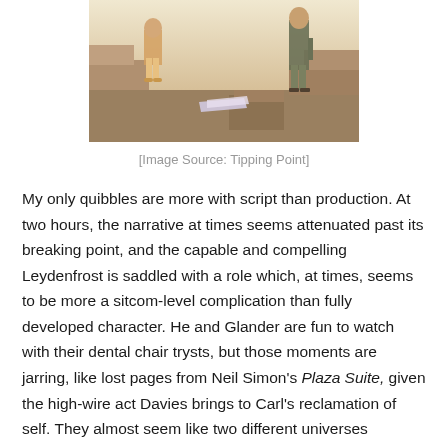[Figure (photo): A theater stage scene showing two actors, one in a dress with sandals and one in dark clothes, with concrete block set pieces and papers on a surface in the foreground.]
[Image Source: Tipping Point]
My only quibbles are more with script than production. At two hours, the narrative at times seems attenuated past its breaking point, and the capable and compelling Leydenfrost is saddled with a role which, at times, seems to be more a sitcom-level complication than fully developed character. He and Glander are fun to watch with their dental chair trysts, but those moments are jarring, like lost pages from Neil Simon’s Plaza Suite, given the high-wire act Davies brings to Carl’s reclamation of self. They almost seem like two different universes articulated alongside each other, and the contrast—holding